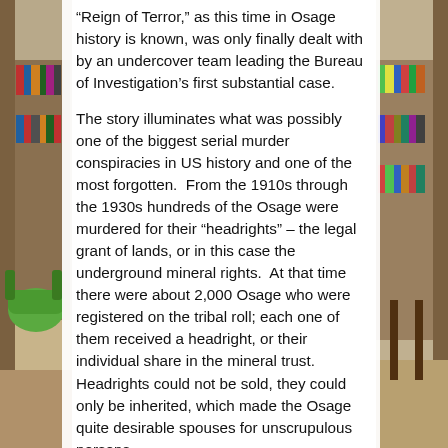[Figure (photo): Library interior with green chair and bookshelves visible on left and right sides behind a white semi-transparent text overlay panel.]
“Reign of Terror,” as this time in Osage history is known, was only finally dealt with by an undercover team leading the Bureau of Investigation’s first substantial case.
The story illuminates what was possibly one of the biggest serial murder conspiracies in US history and one of the most forgotten.  From the 1910s through the 1930s hundreds of the Osage were murdered for their “headrights” – the legal grant of lands, or in this case the underground mineral rights.  At that time there were about 2,000 Osage who were registered on the tribal roll; each one of them received a headright, or their individual share in the mineral trust.  Headrights could not be sold, they could only be inherited, which made the Osage quite desirable spouses for unscrupulous persons.
At the zenith of the oil boom in Oklahoma, in the 1920s, the Osage had accumulated millions